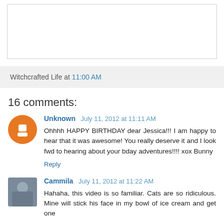[Figure (other): Empty white box with border, partial top of page]
Witchcrafted Life at 11:00 AM
16 comments:
Unknown July 11, 2012 at 11:11 AM
Ohhhh HAPPY BIRTHDAY dear Jessica!!! I am happy to hear that it was awesome! You really deserve it and I look fwd to hearing about your bday adventures!!!! xox Bunny
Reply
Cammila July 11, 2012 at 11:22 AM
Hahaha, this video is so familiar. Cats are so ridiculous. Mine will stick his face in my bowl of ice cream and get one